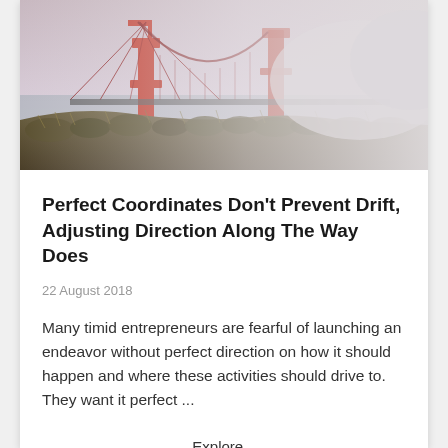[Figure (photo): Golden Gate Bridge partially shrouded in fog, viewed from a hillside with dry brush vegetation in the foreground. The red towers and suspension cables are prominent against a misty sky.]
Perfect Coordinates Don't Prevent Drift, Adjusting Direction Along The Way Does
22 August 2018
Many timid entrepreneurs are fearful of launching an endeavor without perfect direction on how it should happen and where these activities should drive to. They want it perfect ...
Explore...